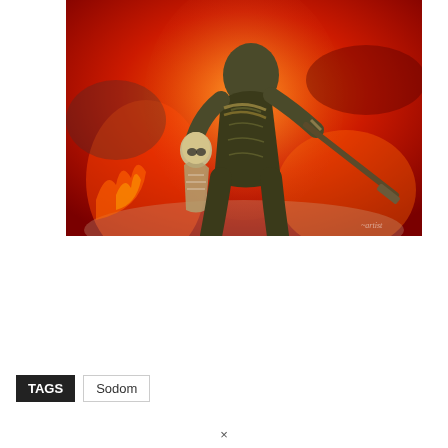[Figure (illustration): Album cover art featuring a muscular warrior figure holding a skeletal soldier against a fiery red background, with a rifle visible on the right side]
TAGS   Sodom